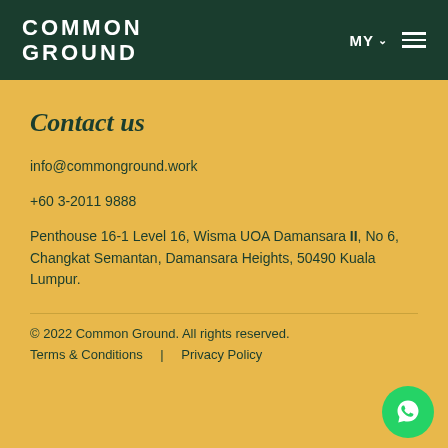COMMON GROUND | MY
Contact us
info@commonground.work
+60 3-2011 9888
Penthouse 16-1 Level 16, Wisma UOA Damansara II, No 6, Changkat Semantan, Damansara Heights, 50490 Kuala Lumpur.
© 2022 Common Ground. All rights reserved.
Terms & Conditions | Privacy Policy